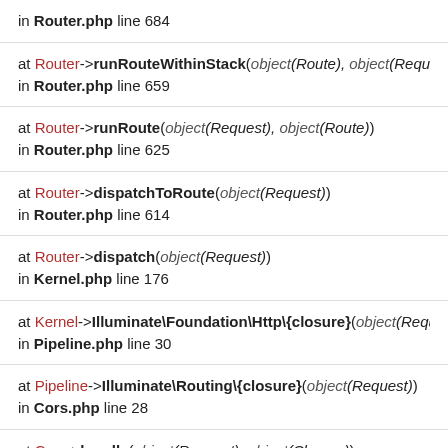in Router.php line 684
at Router->runRouteWithinStack( object(Route), object(Request)) in Router.php line 659
at Router->runRoute( object(Request), object(Route)) in Router.php line 625
at Router->dispatchToRoute( object(Request)) in Router.php line 614
at Router->dispatch( object(Request)) in Kernel.php line 176
at Kernel->Illuminate\Foundation\Http\{closure}( object(Request)) in Pipeline.php line 30
at Pipeline->Illuminate\Routing\{closure}( object(Request)) in Cors.php line 28
at Cors->handle( object(Request), object(Closure)) in Pipeline.php line 163
at Pipeline->Illuminate\Pipeline\{closure}( object(Request))